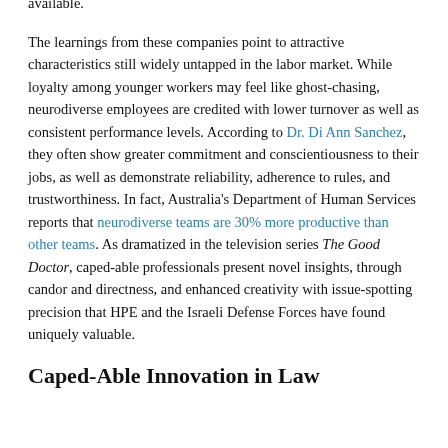invisible disabilities reach 80%, they may actually be more available.
The learnings from these companies point to attractive characteristics still widely untapped in the labor market. While loyalty among younger workers may feel like ghost-chasing, neurodiverse employees are credited with lower turnover as well as consistent performance levels. According to Dr. Di Ann Sanchez, they often show greater commitment and conscientiousness to their jobs, as well as demonstrate reliability, adherence to rules, and trustworthiness. In fact, Australia's Department of Human Services reports that neurodiverse teams are 30% more productive than other teams. As dramatized in the television series The Good Doctor, caped-able professionals present novel insights, through candor and directness, and enhanced creativity with issue-spotting precision that HPE and the Israeli Defense Forces have found uniquely valuable.
Caped-Able Innovation in Law